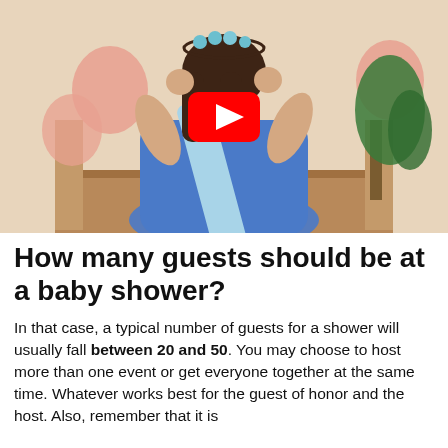[Figure (screenshot): A YouTube video thumbnail showing a young woman wearing a blue outfit with a light blue sash and a floral crown headband, with pink balloons and a green plant in the background. A red YouTube play button is overlaid in the center.]
How many guests should be at a baby shower?
In that case, a typical number of guests for a shower will usually fall between 20 and 50. You may choose to host more than one event or get everyone together at the same time. Whatever works best for the guest of honor and the host. Also, remember that it is